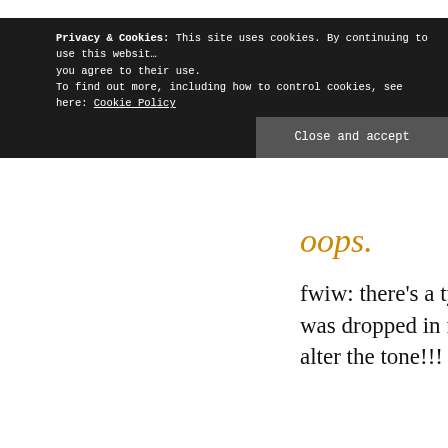Privacy & Cookies: This site uses cookies. By continuing to use this website, you agree to their use.
To find out more, including how to control cookies, see here: Cookie Policy
Close and accept
oops.
fwiw: there's a typo in my post above – the 'wink' was dropped in formatting, which might radically alter the tone!!! d'oh!
“…especially if I was going to finish by claiming to be a perpetual fan who was concerned about not